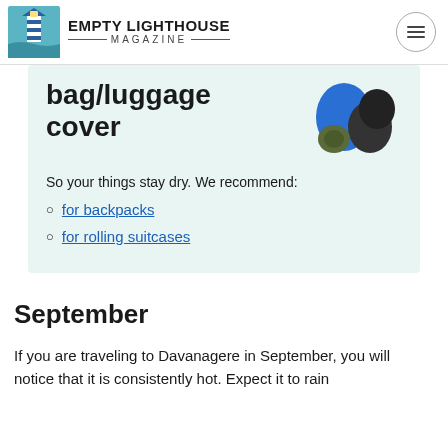Empty Lighthouse Magazine
bag/luggage cover
[Figure (photo): Photo of travel bags and luggage covers including a blue/black backpack and dark bag covers]
So your things stay dry. We recommend:
for backpacks
for rolling suitcases
September
If you are traveling to Davanagere in September, you will notice that it is consistently hot. Expect it to rain